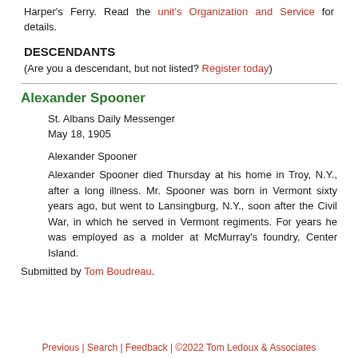Harper's Ferry. Read the unit's Organization and Service for details.
DESCENDANTS
(Are you a descendant, but not listed? Register today)
Alexander Spooner
St. Albans Daily Messenger
May 18, 1905
Alexander Spooner
Alexander Spooner died Thursday at his home in Troy, N.Y., after a long illness. Mr. Spooner was born in Vermont sixty years ago, but went to Lansingburg, N.Y., soon after the Civil War, in which he served in Vermont regiments. For years he was employed as a molder at McMurray's foundry, Center Island.
Submitted by Tom Boudreau.
Previous | Search | Feedback | ©2022 Tom Ledoux & Associates